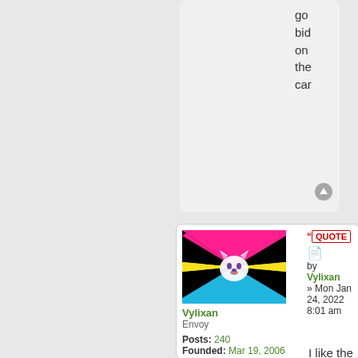go bid on the car
[Figure (illustration): Panromantic/pansexual wolf flag avatar - black triangles on four corners with pink top, yellow middle stripe, cyan bottom stripe, white wolf head in center]
Vylixan
Envoy

Posts: 240
Founded: Mar 19, 2006
Iron Fist Socialists
QUOTE
by Vylixan
» Mon Jan 24, 2022 8:01 am

I like the ide but isn it eas to let